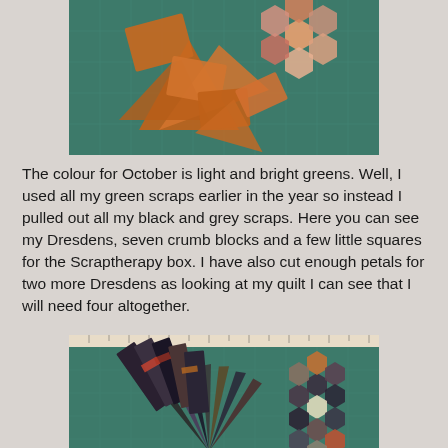[Figure (photo): Photo of orange/rust coloured quilt fabric pieces including triangles and hexagon flower shapes arranged on a green cutting mat]
The colour for October is light and bright greens. Well, I used all my green scraps earlier in the year so instead I pulled out all my black and grey scraps. Here you can see my Dresdens, seven crumb blocks and a few little squares for the Scraptherapy box. I have also cut enough petals for two more Dresdens as looking at my quilt I can see that I will need four altogether.
[Figure (photo): Photo of black, grey and dark fabric quilt pieces including Dresden fan blade strips and hexagon flower clusters arranged on a green cutting mat with a ruler visible]